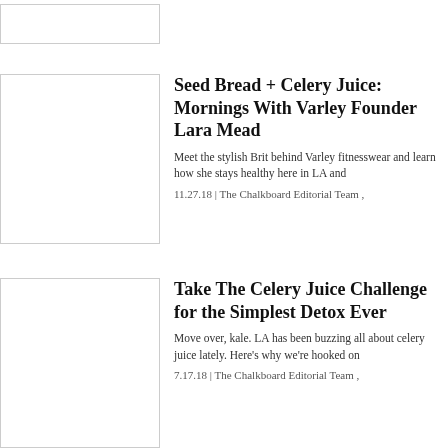[Figure (photo): Partially visible image placeholder at top left]
[Figure (photo): Image placeholder for Seed Bread + Celery Juice article]
Seed Bread + Celery Juice: Mornings With Varley Founder Lara Mead
Meet the stylish Brit behind Varley fitnesswear and learn how she stays healthy here in LA and
11.27.18 | The Chalkboard Editorial Team ,
[Figure (photo): Image placeholder for Take The Celery Juice Challenge article]
Take The Celery Juice Challenge for the Simplest Detox Ever
Move over, kale. LA has been buzzing all about celery juice lately. Here's why we're hooked on
7.17.18 | The Chalkboard Editorial Team ,